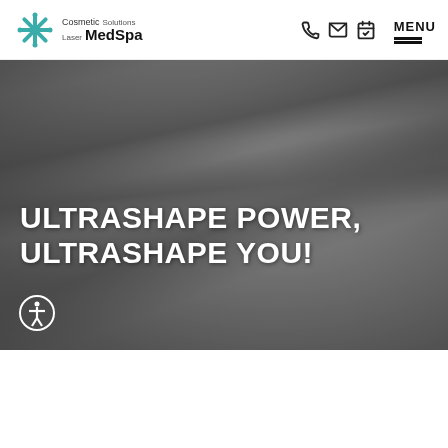Cosmetic Laser Solutions MedSpa — navigation header with phone, email, calendar icons and MENU
[Figure (photo): Grayscale hero photo of a woman with long hair holding her collar, overlaid with large white text 'ULTRASHAPE POWER, ULTRASHAPE YOU!' and an accessibility icon circle at bottom left]
ULTRASHAPE POWER, ULTRASHAPE YOU!